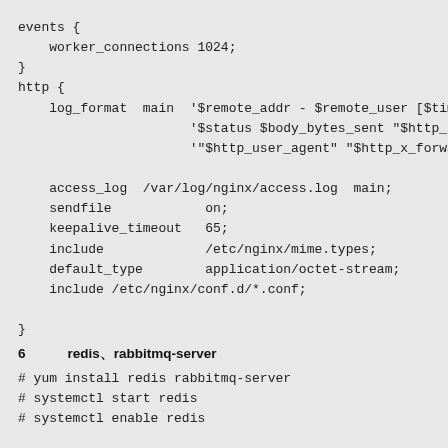events {
    worker_connections 1024;
}
http {
    log_format  main  '$remote_addr - $remote_user [$time
                      '$status $body_bytes_sent "$http_re
                      '"$http_user_agent" "$http_x_forwar

    access_log  /var/log/nginx/access.log  main;
    sendfile            on;
    keepalive_timeout   65;
    include             /etc/nginx/mime.types;
    default_type        application/octet-stream;
    include /etc/nginx/conf.d/*.conf;

}
6　　　redis、rabbitmq-server
# yum install redis rabbitmq-server
# systemctl start redis
# systemctl enable redis